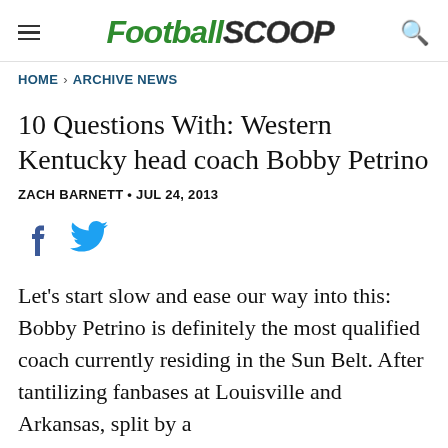FootballScoop
HOME › ARCHIVE NEWS
10 Questions With: Western Kentucky head coach Bobby Petrino
ZACH BARNETT • JUL 24, 2013
[Figure (other): Social media share icons: Facebook and Twitter]
Let's start slow and ease our way into this: Bobby Petrino is definitely the most qualified coach currently residing in the Sun Belt. After tantilizing fanbases at Louisville and Arkansas, split by a